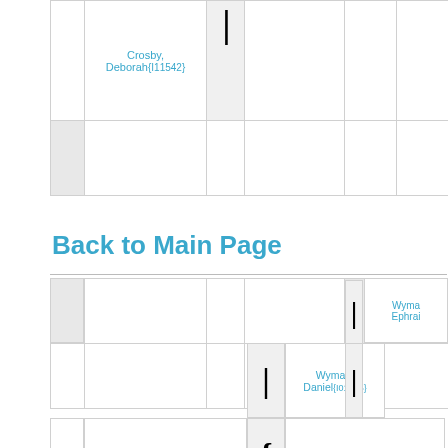[Figure (other): Partial genealogy chart rows at top of page showing Crosby, Deborah{I11542} with connector bracket and empty cells]
Back to Main Page
[Figure (other): Genealogy chart table showing family tree nodes: empty person box, Wyman, Ephrai (partially visible), Wyman, Daniel{I01955}, Wyman, Asenath{I11544}, and connector bracket symbols representing family relationships]